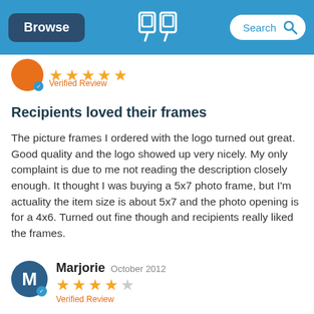[Figure (screenshot): App navigation bar with Browse button, company logo, and Search field on blue background]
Verified Review
Recipients loved their frames
The picture frames I ordered with the logo turned out great. Good quality and the logo showed up very nicely. My only complaint is due to me not reading the description closely enough. It thought I was buying a 5x7 photo frame, but I'm actuality the item size is about 5x7 and the photo opening is for a 4x6. Turned out fine though and recipients really liked the frames.
Marjorie October 2012 Verified Review